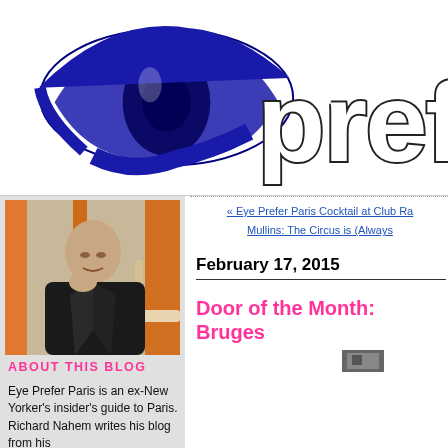[Figure (logo): Eye Prefer Paris blog logo with stylized blue eye graphic on left and outlined text 'prefe' on right]
« Eye Prefer Paris Cocktail at Club Ra
Mullins: The Circus is (Always
February 17, 2015
Door of the Month: Bruges
[Figure (photo): Portrait photo of Richard Nahem, a bald man wearing a black leather jacket, seated at a café table]
ABOUT THIS BLOG
Eye Prefer Paris is an ex-New Yorker's insider's guide to Paris. Richard Nahem writes his blog from his